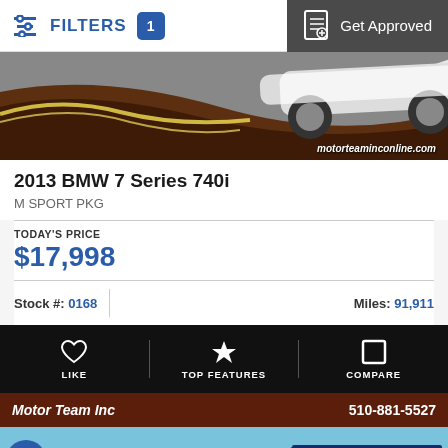FILTERS 1 | Get Approved
[Figure (photo): Partial view of a white BMW 7 Series on a decorative background with dark brown and yellow swoosh design, watermark motorteaminconline.com]
2013 BMW 7 Series 740i
M SPORT PKG
TODAY'S PRICE
$17,998
Stock #: 0168
Miles: 91,911
LIKE | TOP FEATURES | COMPARE
[Figure (photo): Motor Team Inc dealership header with phone number 510-881-5527 and exterior photo of dealership with Motor Team signage and 'Se Habla Español' sign]